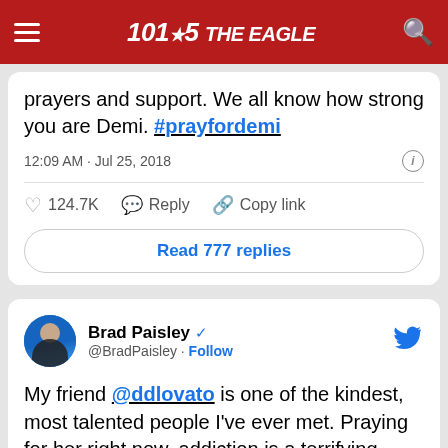101.5 The Eagle
prayers and support. We all know how strong you are Demi. #prayfordemi
12:09 AM · Jul 25, 2018
124.7K  Reply  Copy link
Read 777 replies
Brad Paisley @BradPaisley · Follow
My friend @ddlovato is one of the kindest, most talented people I've ever met. Praying for her right now, addiction is a terrifying disease. There is no one more honest or brave than this woman.